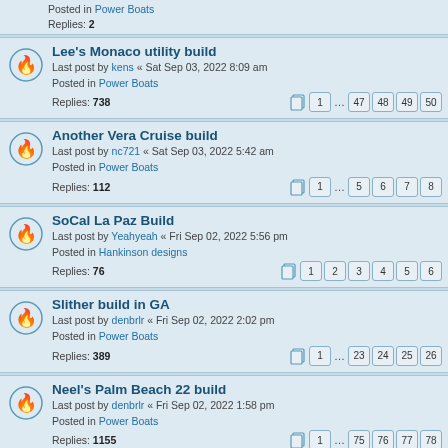Posted in Power Boats
Replies: 2
Lee's Monaco utility build
Last post by kens « Sat Sep 03, 2022 8:09 am
Posted in Power Boats
Replies: 738
Pages: 1 ... 47 48 49 50
Another Vera Cruise build
Last post by nc721 « Sat Sep 03, 2022 5:42 am
Posted in Power Boats
Replies: 112
Pages: 1 ... 5 6 7 8
SoCal La Paz Build
Last post by Yeahyeah « Fri Sep 02, 2022 5:56 pm
Posted in Hankinson designs
Replies: 76
Pages: 1 2 3 4 5 6
Slither build in GA
Last post by denbrlr « Fri Sep 02, 2022 2:02 pm
Posted in Power Boats
Replies: 389
Pages: 1 ... 23 24 25 26
Neel's Palm Beach 22 build
Last post by denbrlr « Fri Sep 02, 2022 1:58 pm
Posted in Power Boats
Replies: 1155
Pages: 1 ... 75 76 77 78
G16 Date and Location
Last post by Bill Edmundson « Fri Sep 02, 2022 9:14 am
Posted in Gathering 2022
Replies: 47
Pages: 1 2 3 4